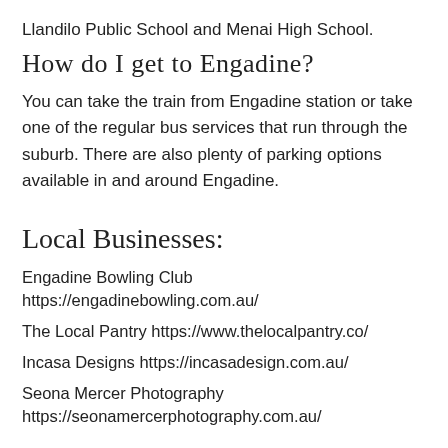Llandilo Public School and Menai High School.
How do I get to Engadine?
You can take the train from Engadine station or take one of the regular bus services that run through the suburb. There are also plenty of parking options available in and around Engadine.
Local Businesses:
Engadine Bowling Club https://engadinebowling.com.au/
The Local Pantry https://www.thelocalpantry.co/
Incasa Designs https://incasadesign.com.au/
Seona Mercer Photography https://seonamercerphotography.com.au/